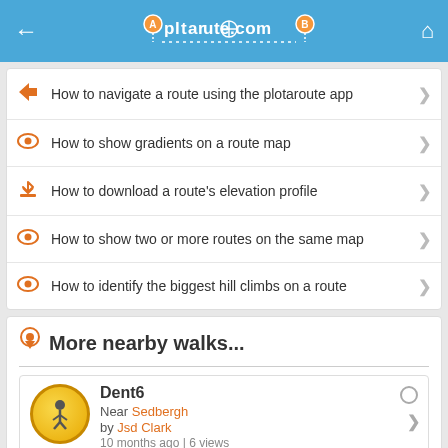plotaroute.com
How to navigate a route using the plotaroute app
How to show gradients on a route map
How to download a route's elevation profile
How to show two or more routes on the same map
How to identify the biggest hill climbs on a route
More nearby walks...
Dent6
Near Sedbergh
by Jsd Clark
10 months ago | 6 views
9.87 km | 225 m ↑ | 8% →